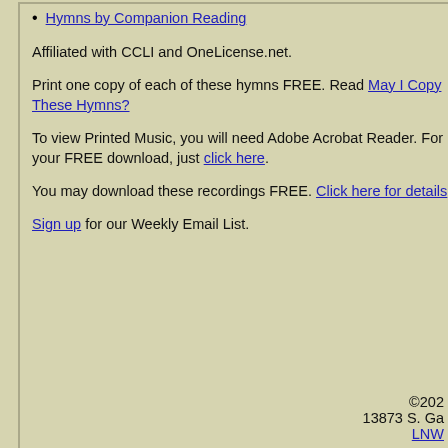Hymns by Companion Reading
Affiliated with CCLI and OneLicense.net.
Print one copy of each of these hymns FREE. Read May I Copy These Hymns?
To view Printed Music, you will need Adobe Acrobat Reader. For your FREE download, just click here.
You may download these recordings FREE. Click here for details.
Sign up for our Weekly Email List.
| Verse | Star | Title |
| --- | --- | --- |
| 3:11 |  | Thank You fo... |
| 3:19-20 | * | Ash Wednesd... |
| 5:1 |  | You Are Holy:... |
| 9:1-12 |  | Life Fulfilled |
| 11:6 | * | See the Seed... |
| 12:7 |  | Ashes to Ashe... |
©2022 13873 S. Ga... LNW...